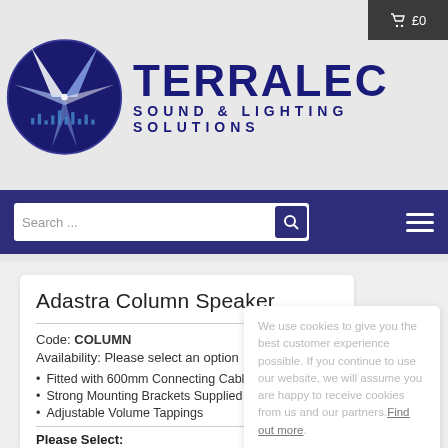[Figure (logo): Terralec Sound & Lighting Solutions logo with circular star/spotlight graphic and dark blue TERRALEC text]
£0
Search ...
Adastra Column Speaker
Code: COLUMN
Availability: Please select an option
Fitted with 600mm Connecting Cable
Strong Mounting Brackets Supplied
Adjustable Volume Tappings
Please Select:
We use cookies to give you the best customer experience possible. If you continue to use our website, we will assume you are happy to receive cookies from us and our partners. Find out more
OK